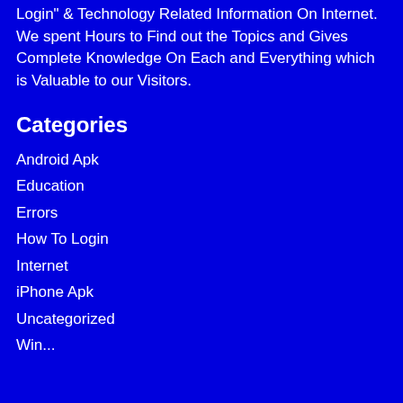Login" & Technology Related Information On Internet. We spent Hours to Find out the Topics and Gives Complete Knowledge On Each and Everything which is Valuable to our Visitors.
Categories
Android Apk
Education
Errors
How To Login
Internet
iPhone Apk
Uncategorized
Win...